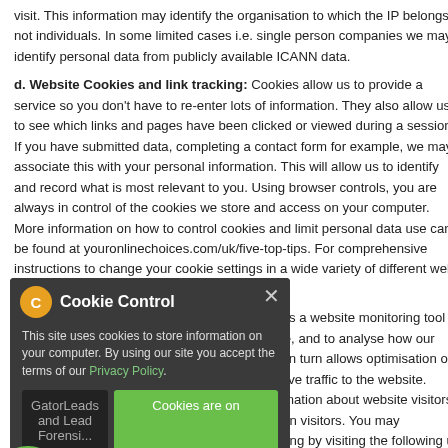visit. This information may identify the organisation to which the IP belongs, not individuals. In some limited cases i.e. single person companies we may identify personal data from publicly available ICANN data.
d. Website Cookies and link tracking: Cookies allow us to provide a service so you don't have to re-enter lots of information. They also allow us to see which links and pages have been clicked or viewed during a session. If you have submitted data, completing a contact form for example, we may associate this with your personal information. This will allow us to identify and record what is most relevant to you. Using browser controls, you are always in control of the cookies we store and access on your computer. More information on how to control cookies and limit personal data use can be found at youronlinechoices.com/uk/five-top-tips. For comprehensive instructions to change your cookie settings in a wide variety of different web browsers please visit www.aboutcookies.org.
Google Analytics Cookies: Google Analytics is a website monitoring tool that lets us see volumes of visitors, their source, and to analyse how our website content is viewed and navigated. This in turn allows optimisation of the content and marketing programmes that drive traffic to the website. Google Analytics does not store personal information about website visitors, but does use persistent cookies to identify return visitors. You may universally opt-out of all Google Analytics tracking by visiting the following url – https://tools.google.com/dlpage/gaoptou...
GatorLeads and Lead Forensics Cookies: GatorLeads and Lead Forensics are used on a number of Group Company websites. They identify the businesses that website visitors belong to, based on a reverse IP Lookup. They us... identification, and personal information about individual users is...
Cookie Control
This site uses cookies to store information on your computer. By using our site you accept the terms of our Privacy Policy.
Cookies are on
read more